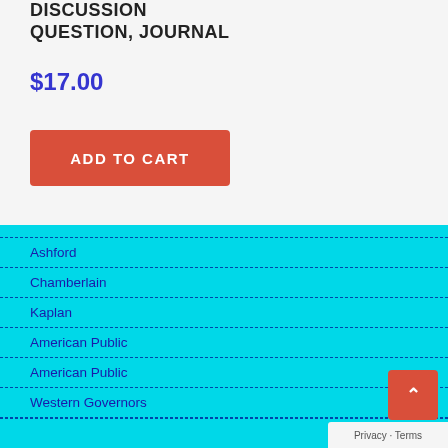DISCUSSION QUESTION, JOURNAL
$17.00
ADD TO CART
Ashford
Chamberlain
Kaplan
American Public
American Public
Western Governors